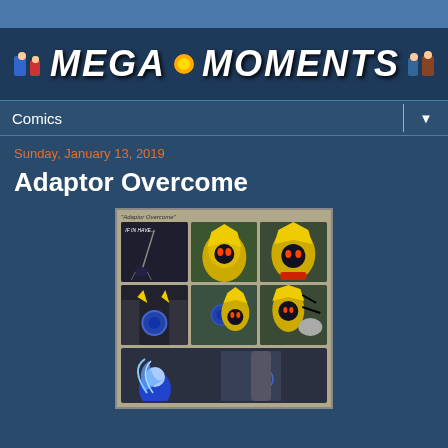MEGA MOMENTS
Comics
Sunday, January 13, 2019
Adaptor Overcome
[Figure (illustration): A multi-panel comic strip titled 'Adaptor Overcome' featuring animated robot/character fights in green-tinted panels, with a dark action panel on top left, several close-up panels of a yellow and black armored character, and a bottom panel showing a blue character with water/ice effects.]